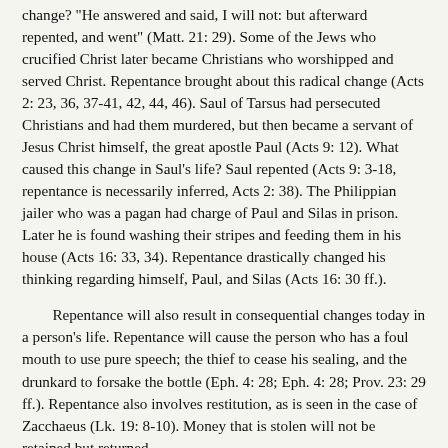change? "He answered and said, I will not: but afterward repented, and went" (Matt. 21: 29). Some of the Jews who crucified Christ later became Christians who worshipped and served Christ. Repentance brought about this radical change (Acts 2: 23, 36, 37-41, 42, 44, 46). Saul of Tarsus had persecuted Christians and had them murdered, but then became a servant of Jesus Christ himself, the great apostle Paul (Acts 9: 12). What caused this change in Saul's life? Saul repented (Acts 9: 3-18, repentance is necessarily inferred, Acts 2: 38). The Philippian jailer who was a pagan had charge of Paul and Silas in prison. Later he is found washing their stripes and feeding them in his house (Acts 16: 33, 34). Repentance drastically changed his thinking regarding himself, Paul, and Silas (Acts 16: 30 ff.).
Repentance will also result in consequential changes today in a person's life. Repentance will cause the person who has a foul mouth to use pure speech; the thief to cease his sealing, and the drunkard to forsake the bottle (Eph. 4: 28; Eph. 4: 28; Prov. 23: 29 ff.). Repentance also involves restitution, as is seen in the case of Zacchaeus (Lk. 19: 8-10). Money that is stolen will not be retained but returned